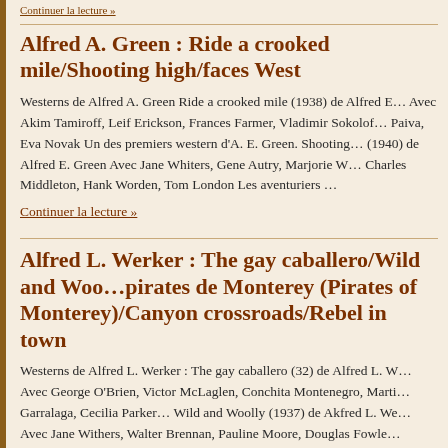Continuer la lecture »
Alfred A. Green : Ride a crooked mile/Shooting high/faces West
Westerns de Alfred A. Green Ride a crooked mile (1938) de Alfred E… Avec Akim Tamiroff, Leif Erickson, Frances Farmer, Vladimir Sokolof… Paiva, Eva Novak Un des premiers western d'A. E. Green. Shooting… (1940) de Alfred E. Green Avec Jane Whiters, Gene Autry, Marjorie W… Charles Middleton, Hank Worden, Tom London Les aventuriers …
Continuer la lecture »
Alfred L. Werker : The gay caballero/Wild and Woolly/pirates de Monterey (Pirates of Monterey)/Canyon crossroads/Rebel in town
Westerns de Alfred L. Werker : The gay caballero (32) de Alfred L. W… Avec George O'Brien, Victor McLaglen, Conchita Montenegro, Marti… Garralaga, Cecilia Parker… Wild and Woolly (1937) de Akfred L. We… Avec Jane Withers, Walter Brennan, Pauline Moore, Douglas Fowle…